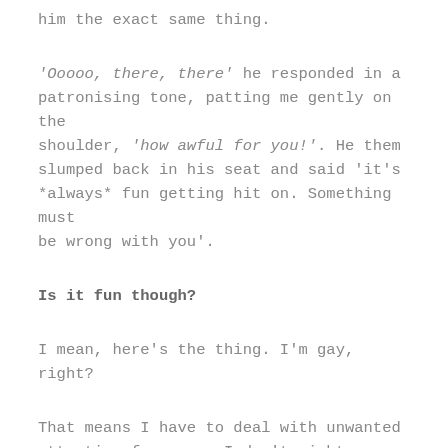him the exact same thing.
'Ooooo, there, there' he responded in a patronising tone, patting me gently on the shoulder, 'how awful for you!'. He them slumped back in his seat and said 'it's *always* fun getting hit on. Something must be wrong with you'.
Is it fun though?
I mean, here's the thing. I'm gay, right?
That means I have to deal with unwanted attention from men. I don't right...